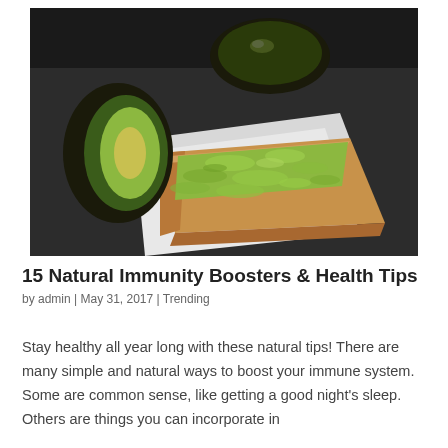[Figure (photo): Photo of avocado toast on bread placed on a white napkin, with two halved avocados in the background on a dark surface.]
15 Natural Immunity Boosters & Health Tips
by admin | May 31, 2017 | Trending
Stay healthy all year long with these natural tips! There are many simple and natural ways to boost your immune system. Some are common sense, like getting a good night's sleep. Others are things you can incorporate in